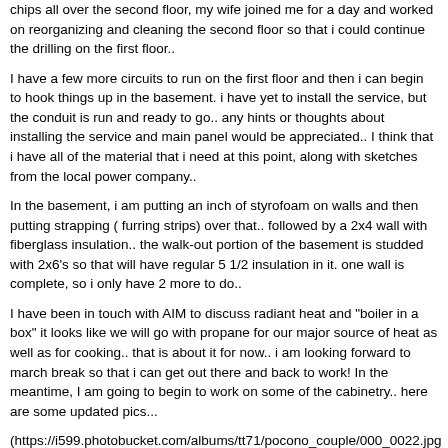chips all over the second floor,  my wife joined me for a day and worked on reorganizing and cleaning the second floor so that i could continue the drilling on the first floor..
I have a few more circuits  to run on the first floor and then i can begin to hook things up in the basement.  i have yet to install the service, but the conduit is run and ready to go..  any hints or thoughts about installing the service and main panel would be appreciated..   I think that i have all of the material that i need at this point, along with sketches from the local power company..
In the basement, i am putting an inch of styrofoam on walls and then putting strapping ( furring strips) over that.. followed by a 2x4 wall with fiberglass insulation..  the walk-out portion of the basement is studded with 2x6's so that will have regular 5 1/2 insulation in it.   one wall is complete, so i only have 2 more to do..
I have been in touch with AIM to discuss radiant heat  and "boiler in a box"   it looks like we will go with propane for our major source of heat as well as for cooking..      that is about it for now.. i am looking forward to march break so that i can get out there and back to work!  In the meantime, I am going to begin to work on some of the cabinetry..  here are some updated pics...
(https://i599.photobucket.com/albums/tt71/pocono_couple/000_0022.jpg
(https://i599.photobucket.com/albums/tt71/pocono_couple/000_0021.jpg
(https://i599.photobucket.com/albums/tt71/pocono_couple/000_0020.jpg